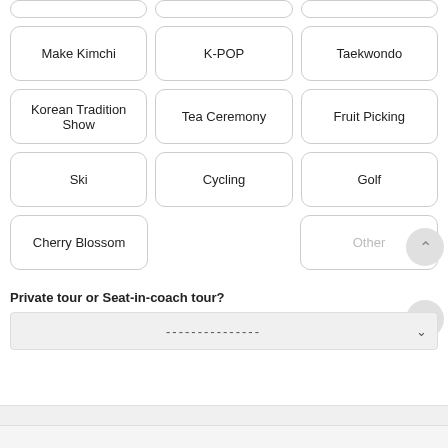Make Kimchi
K-POP
Taekwondo
Korean Tradition Show
Tea Ceremony
Fruit Picking
Ski
Cycling
Golf
Cherry Blossom
Other
Private tour or Seat-in-coach tour?
---------------